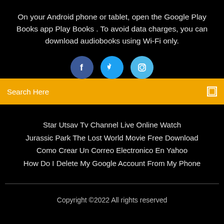On your Android phone or tablet, open the Google Play Books app Play Books . To avoid data charges, you can download audiobooks using Wi-Fi only.
[Figure (illustration): Three social media icon circles: Facebook (dark blue), Twitter (medium blue), Instagram (light blue)]
Search Here
Star Utsav Tv Channel Live Online Watch
Jurassic Park The Lost World Movie Free Download
Como Crear Un Correo Electronico En Yahoo
How Do I Delete My Google Account From My Phone
Copyright ©2022 All rights reserved